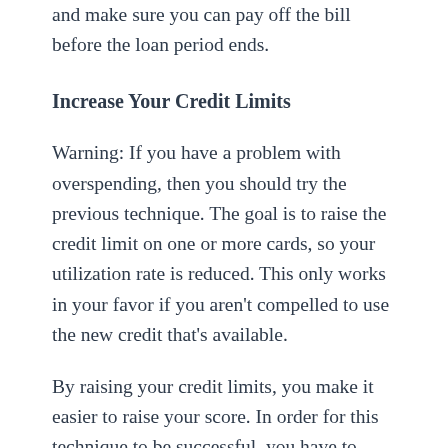and make sure you can pay off the bill before the loan period ends.
Increase Your Credit Limits
Warning: If you have a problem with overspending, then you should try the previous technique. The goal is to raise the credit limit on one or more cards, so your utilization rate is reduced. This only works in your favor if you aren't compelled to use the new credit that's available.
By raising your credit limits, you make it easier to raise your score. In order for this technique to be successful, you have to make sure that you pay off your debt to ensure that the credit utilization ratio is lowered.